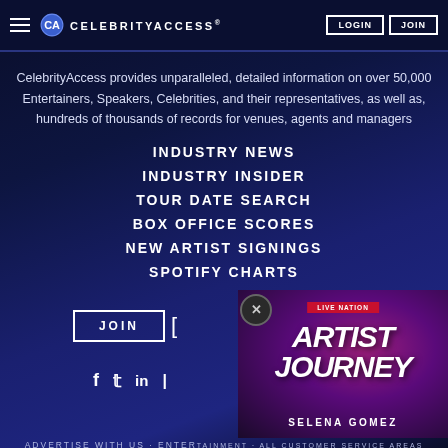CELEBRITYACCESS® | LOGIN | JOIN
CelebrityAccess provides unparalleled, detailed information on over 50,000 Entertainers, Speakers, Celebrities, and their representatives, as well as, hundreds of thousands of records for venues, agents and managers
INDUSTRY NEWS
INDUSTRY INSIDER
TOUR DATE SEARCH
BOX OFFICE SCORES
NEW ARTIST SIGNINGS
SPOTIFY CHARTS
JOIN
[Figure (illustration): Live Nation Artist Journey advertisement featuring Selena Gomez]
f  t  in  |
ADVERTISE WITH US · ENTER...